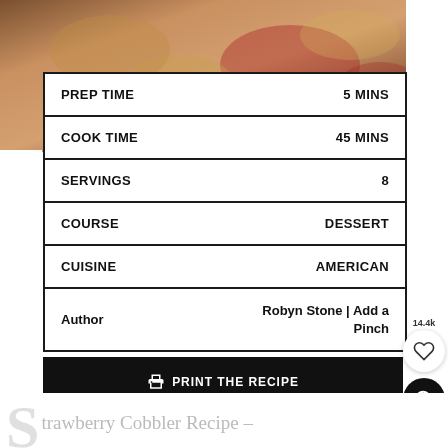[Figure (photo): Close-up photo of strawberry cobbler baked dessert, golden crust with red strawberry pieces visible]
| PREP TIME | 5 MINS |
| COOK TIME | 45 MINS |
| SERVINGS | 8 |
| COURSE | DESSERT |
| CUISINE | AMERICAN |
| Author | Robyn Stone | Add a Pinch |
🖨 PRINT THE RECIPE
⭐ LEAVE A REVIEW
14.4k
trawberry Cobbler Recipe –